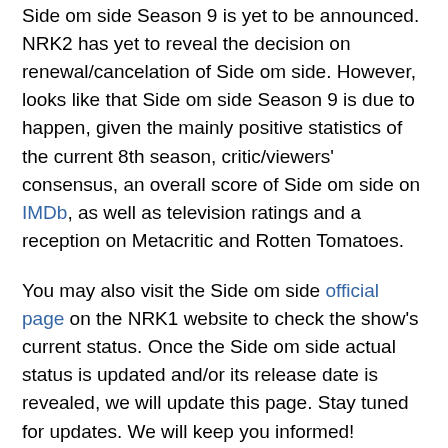Side om side Season 9 is yet to be announced. NRK2 has yet to reveal the decision on renewal/cancelation of Side om side. However, looks like that Side om side Season 9 is due to happen, given the mainly positive statistics of the current 8th season, critic/viewers' consensus, an overall score of Side om side on IMDb, as well as television ratings and a reception on Metacritic and Rotten Tomatoes.
You may also visit the Side om side official page on the NRK1 website to check the show's current status. Once the Side om side actual status is updated and/or its release date is revealed, we will update this page. Stay tuned for updates. We will keep you informed!